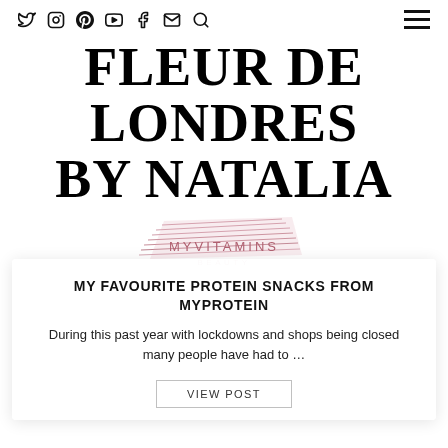Social icons: Twitter, Instagram, Pinterest, YouTube, Facebook, Email, Search | Hamburger menu
FLEUR DE LONDRES BY NATALIA
[Figure (logo): MyVitamins Beauty logo with decorative lines]
MY FAVOURITE PROTEIN SNACKS FROM MYPROTEIN
During this past year with lockdowns and shops being closed many people have had to …
VIEW POST